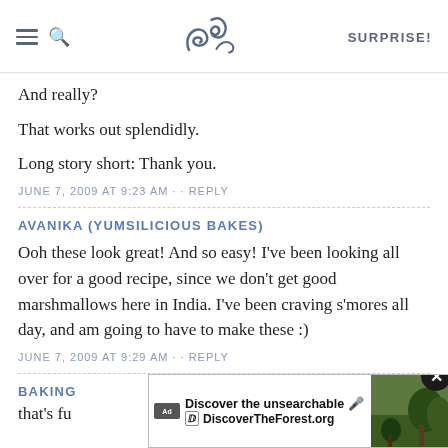SK — SURPRISE!
And really?
That works out splendidly.
Long story short: Thank you.
JUNE 7, 2009 AT 9:23 AM · · REPLY
AVANIKA (YUMSILICIOUS BAKES)
Ooh these look great! And so easy! I've been looking all over for a good recipe, since we don't get good marshmallows here in India. I've been craving s'mores all day, and am going to have to make these :)
JUNE 7, 2009 AT 9:29 AM · · REPLY
BAKING
that's fu
[Figure (screenshot): Advertisement banner: Discover the unsearchable — DiscoverTheForest.org with forest photo background and close button]